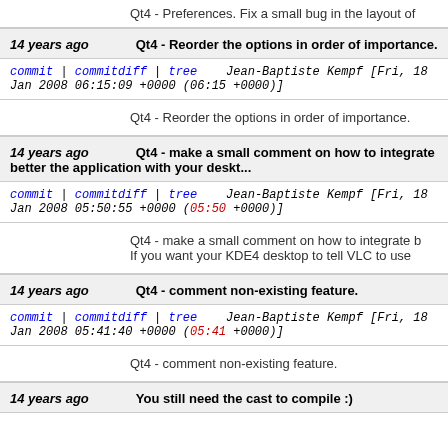Qt4 - Preferences. Fix a small bug in the layout of
14 years ago   Qt4 - Reorder the options in order of importance.
commit | commitdiff | tree   Jean-Baptiste Kempf [Fri, 18 Jan 2008 06:15:09 +0000 (06:15 +0000)]
Qt4 - Reorder the options in order of importance.
14 years ago   Qt4 - make a small comment on how to integrate better the application with your deskt...
commit | commitdiff | tree   Jean-Baptiste Kempf [Fri, 18 Jan 2008 05:50:55 +0000 (05:50 +0000)]
Qt4 - make a small comment on how to integrate b...
If you want your KDE4 desktop to tell VLC to use ...
14 years ago   Qt4 - comment non-existing feature.
commit | commitdiff | tree   Jean-Baptiste Kempf [Fri, 18 Jan 2008 05:41:40 +0000 (05:41 +0000)]
Qt4 - comment non-existing feature.
14 years ago   You still need the cast to compile :)